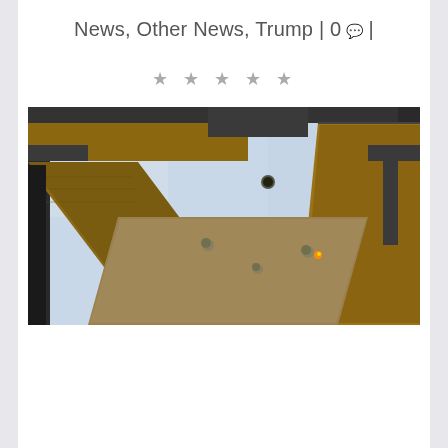News, Other News, Trump | 0 💬 |
★ ★ ★ ★ ★ (star rating, 5 stars, unrated/grey)
[Figure (photo): Low-angle upward view of a metal/wood industrial or construction structure with steel beams, wooden planks, and a flat metal plate held by bolts, against a light blue/white sky background.]